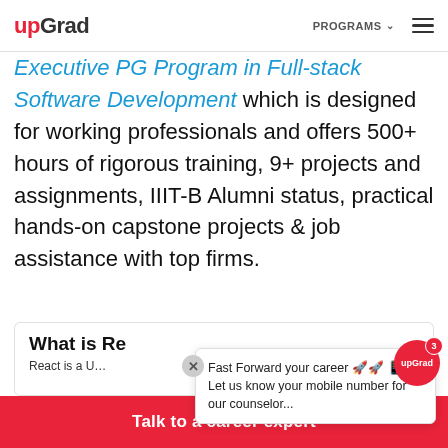upGrad | PROGRAMS
Executive PG Program in Full-stack Software Development which is designed for working professionals and offers 500+ hours of rigorous training, 9+ projects and assignments, IIIT-B Alumni status, practical hands-on capstone projects & job assistance with top firms.
What is Re...
React is a U... as...
Fast Forward your career 🚀🚀 Let us know your mobile number for our counselor...
Talk to a career expert